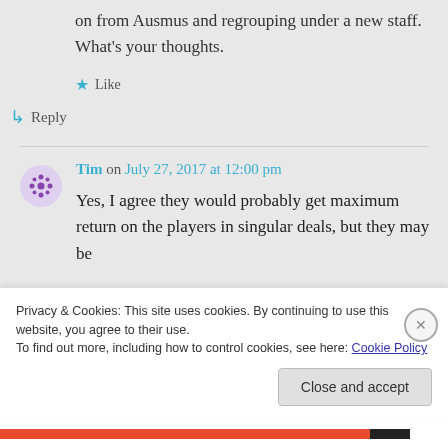on from Ausmus and regrouping under a new staff. What's your thoughts.
★ Like
↳ Reply
Tim on July 27, 2017 at 12:00 pm
Yes, I agree they would probably get maximum return on the players in singular deals, but they may be
Privacy & Cookies: This site uses cookies. By continuing to use this website, you agree to their use.
To find out more, including how to control cookies, see here: Cookie Policy
Close and accept